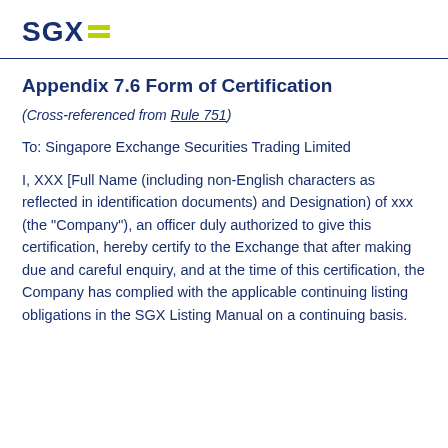SGX
Appendix 7.6 Form of Certification
(Cross-referenced from Rule 751)
To: Singapore Exchange Securities Trading Limited
I, XXX [Full Name (including non-English characters as reflected in identification documents) and Designation) of xxx (the "Company"), an officer duly authorized to give this certification, hereby certify to the Exchange that after making due and careful enquiry, and at the time of this certification, the Company has complied with the applicable continuing listing obligations in the SGX Listing Manual on a continuing basis.